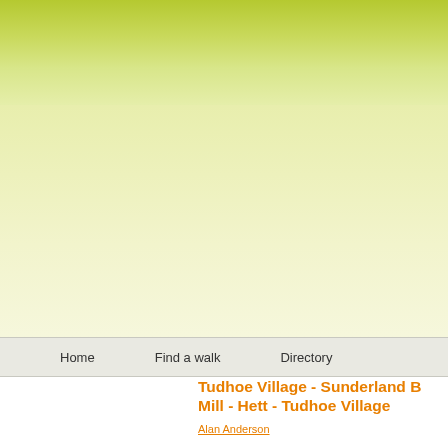[Figure (illustration): Green gradient header banner at top of web page]
Home    Find a walk    Directory
Tudhoe Village - Sunderland B... Mill - Hett - Tudhoe Village
Alan Anderson
You need to log in as a member of Walkingworld to... above if you are already a member. Access is availa... buy the walk individually for £1.95 once you are log...
An easy to follow route around the Wear Valley in th... starts and ends at a delightful pub and is mainly flat... lanes, woods, fields and a bare minimum of road-wa... quietest, picturesque villages.
The walk starts from Tudhoe Village and heads nort...